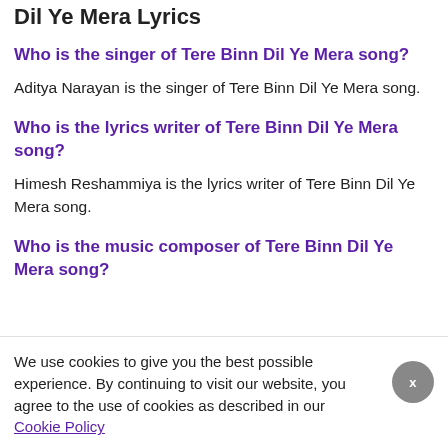Dil Ye Mera Lyrics
Who is the singer of Tere Binn Dil Ye Mera song?
Aditya Narayan is the singer of Tere Binn Dil Ye Mera song.
Who is the lyrics writer of Tere Binn Dil Ye Mera song?
Himesh Reshammiya is the lyrics writer of Tere Binn Dil Ye Mera song.
Who is the music composer of Tere Binn Dil Ye Mera song?
We use cookies to give you the best possible experience. By continuing to visit our website, you agree to the use of cookies as described in our Cookie Policy